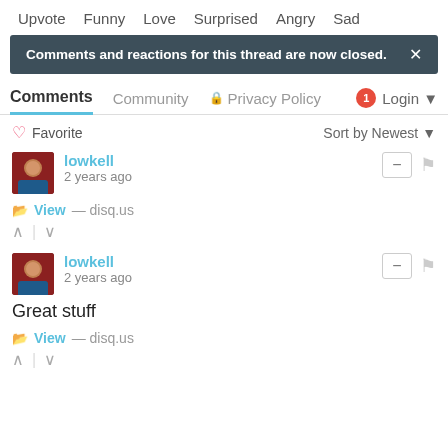Upvote  Funny  Love  Surprised  Angry  Sad
Comments and reactions for this thread are now closed.
Comments  Community  Privacy Policy  1  Login
♡ Favorite   Sort by Newest
lowkell
2 years ago
View — disq.us
lowkell
2 years ago
Great stuff
View — disq.us